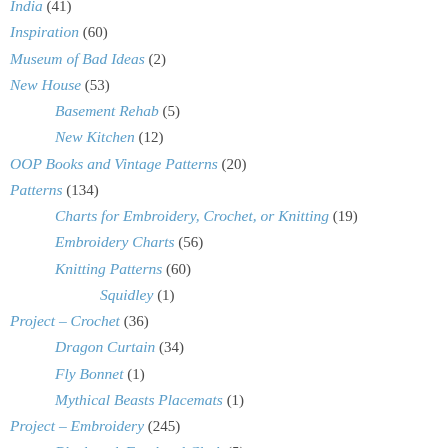India (41)
Inspiration (60)
Museum of Bad Ideas (2)
New House (53)
Basement Rehab (5)
New Kitchen (12)
OOP Books and Vintage Patterns (20)
Patterns (134)
Charts for Embroidery, Crochet, or Knitting (19)
Embroidery Charts (56)
Knitting Patterns (60)
Squidley (1)
Project – Crochet (36)
Dragon Curtain (34)
Fly Bonnet (1)
Mythical Beasts Placemats (1)
Project – Embroidery (245)
Blackwork Forehead Cloth (5)
Blackwork Sampler (33)
Cherub Doodle (5)